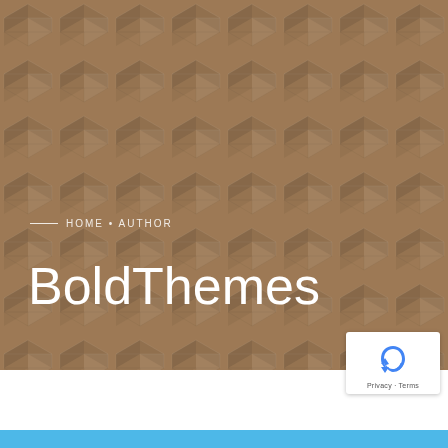[Figure (illustration): Hero section with brown/tan geometric 3D cube pattern background covering the upper two-thirds of the page]
HOME • AUTHOR
BoldThemes
[Figure (logo): Google reCAPTCHA badge with blue recycling-style arrow icon and 'Privacy · Terms' text below]
Privacy · Terms